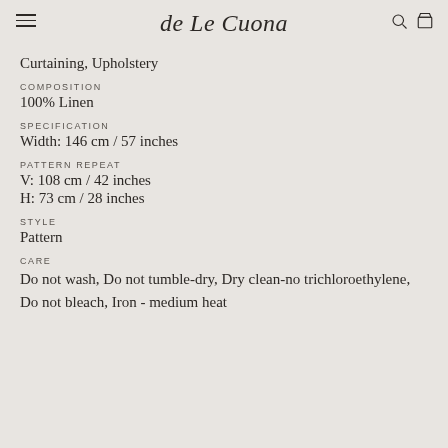de Le Cuona
Curtaining, Upholstery
COMPOSITION
100% Linen
SPECIFICATION
Width: 146 cm / 57 inches
PATTERN REPEAT
V: 108 cm / 42 inches
H: 73 cm / 28 inches
STYLE
Pattern
CARE
Do not wash, Do not tumble-dry, Dry clean-no trichloroethylene, Do not bleach, Iron - medium heat